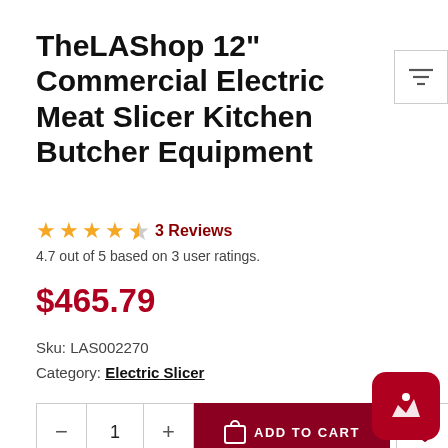TheLAShop 12" Commercial Electric Meat Slicer Kitchen Butcher Equipment
4.7 out of 5 based on 3 user ratings.
$465.79
Sku: LAS002270
Category: Electric Slicer
Member exclusive coupon: LASP
$25 OFF on Order $200